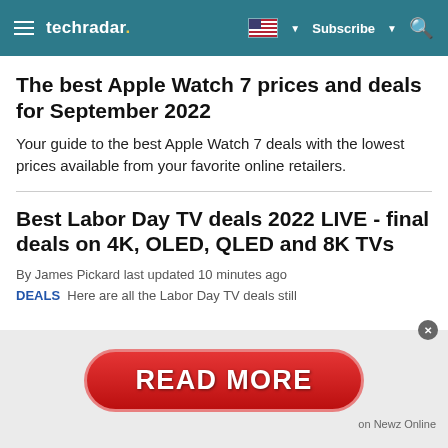techradar — Subscribe
The best Apple Watch 7 prices and deals for September 2022
Your guide to the best Apple Watch 7 deals with the lowest prices available from your favorite online retailers.
Best Labor Day TV deals 2022 LIVE - final deals on 4K, OLED, QLED and 8K TVs
By James Pickard last updated 10 minutes ago
DEALS Here are all the Labor Day TV deals still
[Figure (other): Red 'READ MORE' button ad overlay with 'on Newz Online' attribution]